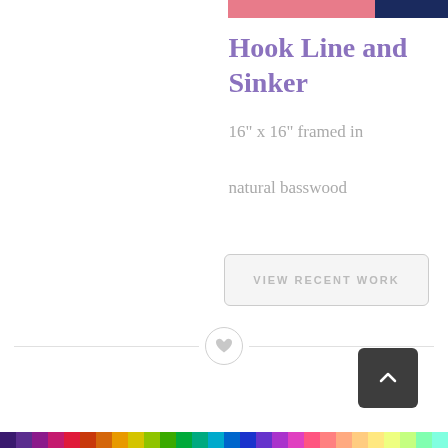[Figure (photo): Partial view of artwork with pink and navy color bands at top right]
Hook Line and Sinker
16" x 16" framed in natural basswood
VIEW RECENT WORK
[Figure (illustration): Horizontal divider line with heart icon in center circle]
[Figure (illustration): Dark gray back-to-top button with upward chevron arrow]
[Figure (illustration): Multicolor horizontal strip bar at bottom of page]